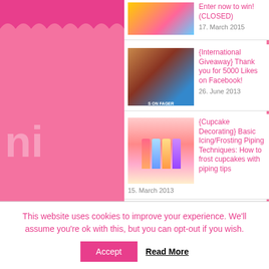Enter now to win! (CLOSED)
17. March 2015
{International Giveaway} Thank you for 5000 Likes on Facebook!
26. June 2013
{Cupcake Decorating} Basic Icing/Frosting Piping Techniques: How to frost cupcakes with piping tips
15. March 2013
ADVERTISEMENT / WERBUNG
[Figure (other): Advertisement banner with text 'Enjoy the moments' in teal/cyan bold italic font on light grey background]
This website uses cookies to improve your experience. We'll assume you're ok with this, but you can opt-out if you wish.
Accept
Read More